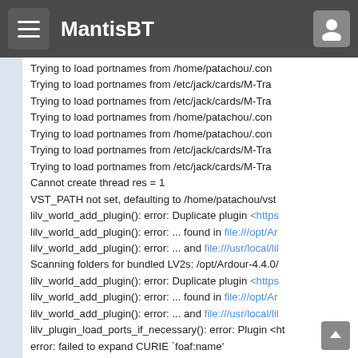MantisBT
Trying to load portnames from /home/patachou/.con
Trying to load portnames from /etc/jack/cards/M-Tra
Trying to load portnames from /etc/jack/cards/M-Tra
Trying to load portnames from /home/patachou/.con
Trying to load portnames from /home/patachou/.con
Trying to load portnames from /etc/jack/cards/M-Tra
Trying to load portnames from /etc/jack/cards/M-Tra
Cannot create thread res = 1
VST_PATH not set, defaulting to /home/patachou/vst
lilv_world_add_plugin(): error: Duplicate plugin <https
lilv_world_add_plugin(): error: ... found in file:///opt/Ar
lilv_world_add_plugin(): error: ... and file:///usr/local/lil
Scanning folders for bundled LV2s: /opt/Ardour-4.4.0/
lilv_world_add_plugin(): error: Duplicate plugin <https
lilv_world_add_plugin(): error: ... found in file:///opt/Ar
lilv_world_add_plugin(): error: ... and file:///usr/local/lil
lilv_plugin_load_ports_if_necessary(): error: Plugin <ht
error: failed to expand CURIE `foaf:name'
error: attempt to add quad with NULL field
error: failed to expand CURIE `foaf:homepage'
error: attempt to add quad with NULL field
error: failed to expand CURIE `foaf:mbox'